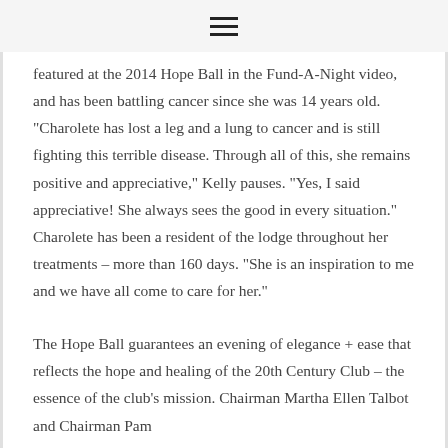≡
featured at the 2014 Hope Ball in the Fund-A-Night video, and has been battling cancer since she was 14 years old. "Charolete has lost a leg and a lung to cancer and is still fighting this terrible disease. Through all of this, she remains positive and appreciative," Kelly pauses. "Yes, I said appreciative! She always sees the good in every situation." Charolete has been a resident of the lodge throughout her treatments – more than 160 days. "She is an inspiration to me and we have all come to care for her."
The Hope Ball guarantees an evening of elegance + ease that reflects the hope and healing of the 20th Century Club – the essence of the club's mission. Chairman Martha Ellen Talbot and Chairman Pam